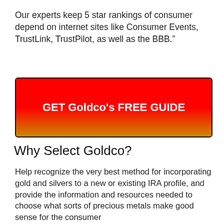Our experts keep 5 star rankings of consumer depend on internet sites like Consumer Events, TrustLink, TrustPilot, as well as the BBB.”
[Figure (other): Red to gold gradient button with bold white text reading GET Goldco's FREE GUIDE, bordered with a dark outline]
Why Select Goldco?
Help recognize the very best method for incorporating gold and silvers to a new or existing IRA profile, and provide the information and resources needed to choose what sorts of precious metals make good sense for the consumer